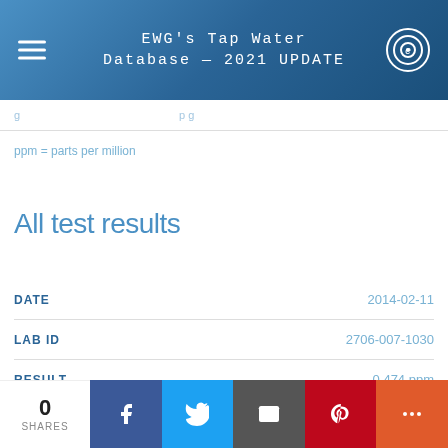EWG's Tap Water Database — 2021 UPDATE
ppm = parts per million
All test results
| Field | Value |
| --- | --- |
| DATE | 2014-02-11 |
| LAB ID | 2706-007-1030 |
| RESULT | 0.474 ppm |
0 SHARES